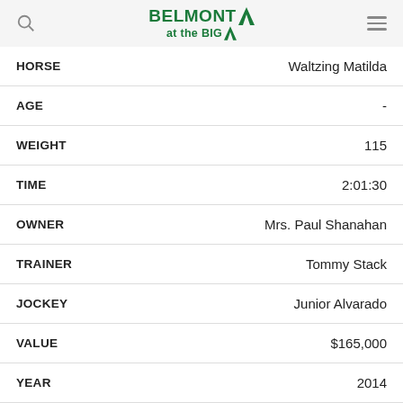Belmont at the Big A
| Field | Value |
| --- | --- |
| HORSE | Waltzing Matilda |
| AGE | - |
| WEIGHT | 115 |
| TIME | 2:01:30 |
| OWNER | Mrs. Paul Shanahan |
| TRAINER | Tommy Stack |
| JOCKEY | Junior Alvarado |
| VALUE | $165,000 |
| YEAR | 2014 |
| HORSE | Riposte |